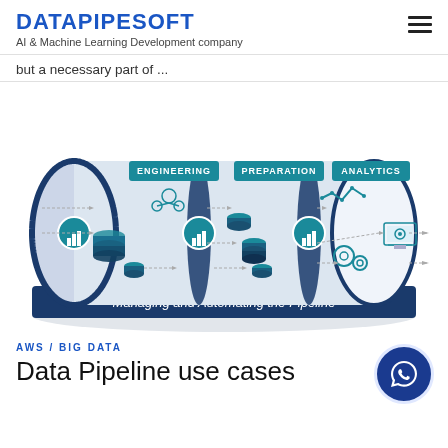DATAPIPESOFT
AI & Machine Learning Development company
but a necessary part of ...
[Figure (infographic): Cylindrical data pipeline diagram showing three stages: Engineering, Preparation, and Analytics, with icons for data processes and arrows showing flow. Bottom label reads 'Managing and Automating the Pipeline'.]
AWS / BIG DATA
Data Pipeline use cases